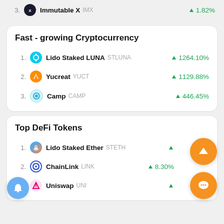3. Immutable X  IMX  ▲ 1.82%
Fast - growing Cryptocurrency
1. Lido Staked LUNA  STLUNA  ▲ 1264.10%
2. Yucreat  YUCT  ▲ 1129.88%
3. Camp  CAMP  ▲ 446.45%
Top DeFi Tokens
1. Lido Staked Ether  STETH
2. ChainLink  LINK  ▲ 8.30%
3. Uniswap  UNI